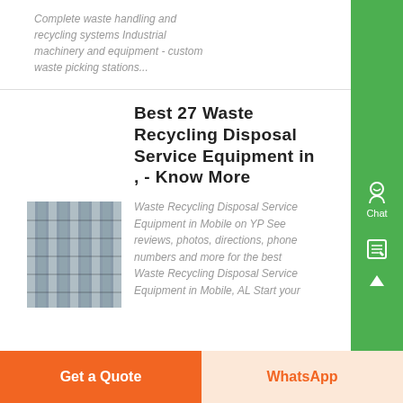Complete waste handling and recycling systems Industrial machinery and equipment - custom waste picking stations...
Best 27 Waste Recycling Disposal Service Equipment in , - Know More
[Figure (photo): Close-up photo of industrial equipment with parallel metal bars/slats viewed from below at an angle]
Waste Recycling Disposal Service Equipment in Mobile on YP See reviews, photos, directions, phone numbers and more for the best Waste Recycling Disposal Service Equipment in Mobile, AL Start your
Get a Quote
WhatsApp